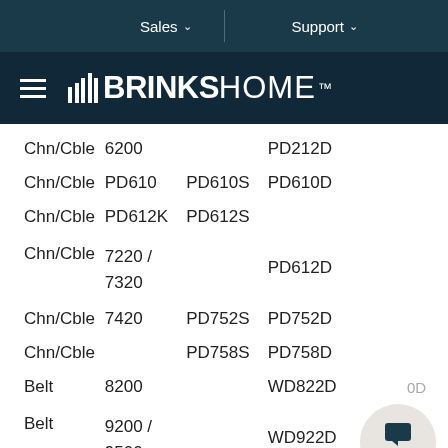Sales   Support
[Figure (logo): Brinks Home logo with hamburger menu icon on dark navy background]
| Type | Model | S-Model | D-Model |
| --- | --- | --- | --- |
| Chn/Cble | 6200 |  | PD212D |
| Chn/Cble | PD610 | PD610S | PD610D |
| Chn/Cble | PD612K | PD612S |  |
| Chn/Cble | 7220 / 7320 |  | PD612D |
| Chn/Cble | 7420 | PD752S | PD752D |
| Chn/Cble |  | PD758S | PD758D |
| Belt | 8200 |  | WD822D |
| Belt | 9200 / 9500 |  | WD922D |
| Belt |  |  |  |